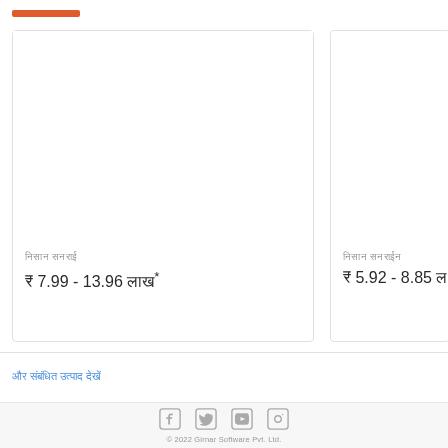[Figure (other): Orange accent bar at top of page]
[Figure (other): Product card left - blank image area with Hindi product label and price range ₹7.99 - 13.96]
[Figure (other): Product card right - blank image area with Hindi product label and price range ₹5.92 - 8.85]
और संबंधित उत्पाद देखें
[Figure (other): Social media icons: Facebook, Twitter, YouTube, Instagram]
© 2022 Girnar Software Pvt. Ltd.